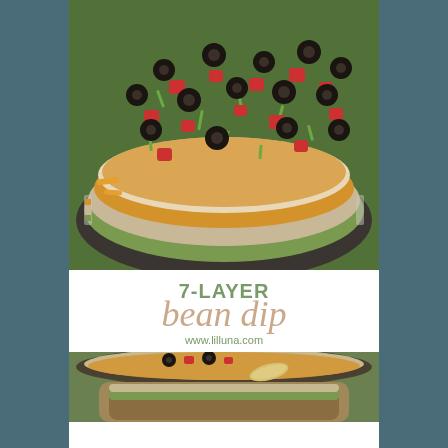[Figure (photo): Close-up overhead photo of a 7-layer bean dip in a glass dish, showing layers of guacamole, sour cream, cheese, with toppings of sliced black olives, diced tomatoes, and sliced green onions]
7-LAYER bean dip
www.lilluna.com
[Figure (photo): Partial photo of the 7-layer bean dip in a bowl, showing the layers from the side including guacamole layer]